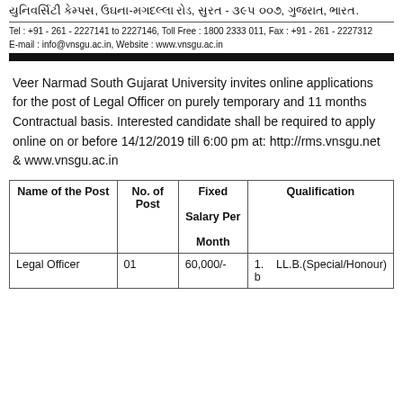યુનિવર્સિટી કેમ્પસ, ઉઘના-મગદલ્લા રોડ, સુરત - ૩૯૫ ૦૦૭, ગુજરાત, ભારત.
Tel : +91 - 261 - 2227141 to 2227146, Toll Free : 1800 2333 011, Fax : +91 - 261 - 2227312
E-mail : info@vnsgu.ac.in, Website : www.vnsgu.ac.in
Veer Narmad South Gujarat University invites online applications for the post of Legal Officer on purely temporary and 11 months Contractual basis. Interested candidate shall be required to apply online on or before 14/12/2019 till 6:00 pm at: http://rms.vnsgu.net & www.vnsgu.ac.in
| Name of the Post | No. of Post | Fixed Salary Per Month | Qualification |
| --- | --- | --- | --- |
| Legal Officer | 01 | 60,000/- | 1.    LL.B.(Special/Honour) b |